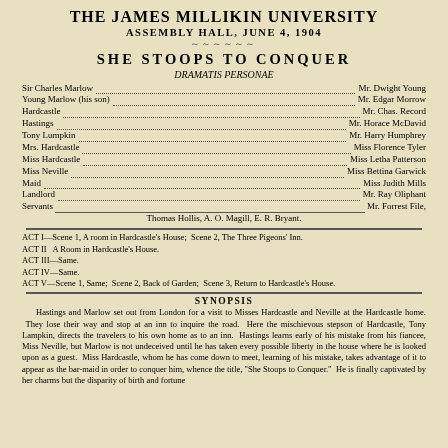THE JAMES MILLIKIN UNIVERSITY
ASSEMBLY HALL, JUNE 4, 1904
SHE STOOPS TO CONQUER
DRAMATIS PERSONAE
Sir Charles Marlow ... Mr. Dwight Young
Young Marlow (his son) ... Mr. Edgar Morrow
Hardcastle ... Mr. Chas. Record
Hastings ... Mr. Horace McDavid
Tony Lumpkin ... Mr. Harry Humphrey
Mrs. Hardcastle ... Miss Florence Tyler
Miss Hardcastle ... Miss Letha Patterson
Miss Neville ... Miss Bettina Garwick
Maid ... Miss Judith Mills
Landlord ... Mr. Ray Oliphant
Servants ... Mr. Forrest File, Thomas Hollis, A. O. Magill, E. R. Bryant.
ACT I—Scene 1, A room in Hardcastle's House; Scene 2, The Three Pigeons' Inn.
ACT II  A Room in Hardcastle's House.
ACT III—Same.
ACT IV—Same.
ACT V—Scene 1, Same; Scene 2, Back of Garden; Scene 3, Return to Hardcastle's House.
SYNOPSIS
Hastings and Marlow set out from London for a visit to Misses Hardcastle and Neville at the Hardcastle home. They lose their way and stop at an inn to inquire the road. Here the mischievous stepson of Hardcastle, Tony Lampkin, directs the travelers to his own home as to an inn. Hastings learns early of his mistake from his fiancee, Miss Neville, but Marlow is not undeceived until he has taken every possible liberty in the house where he is looked upon as a guest. Miss Hardcastle, whom he has come down to meet, learning of his mistake, takes advantage of it to appear as the bar-maid in order to conquer him, whence the title, "She Stoops to Conquer." He is finally captivated by her charms but the disparity of birth and fortune